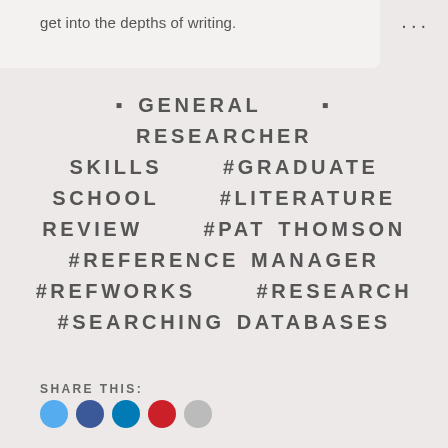get into the depths of writing.
…
▪ GENERAL   ▪ RESEARCHER SKILLS   #GRADUATE SCHOOL   #LITERATURE REVIEW   #PAT THOMSON   #REFERENCE MANAGER   #REFWORKS   #RESEARCH   #SEARCHING DATABASES
SHARE THIS: